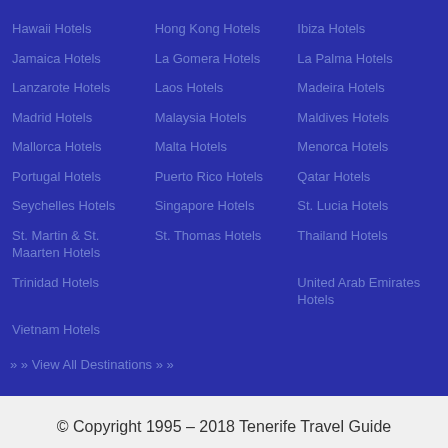Hawaii Hotels
Hong Kong Hotels
Ibiza Hotels
Jamaica Hotels
La Gomera Hotels
La Palma Hotels
Lanzarote Hotels
Laos Hotels
Madeira Hotels
Madrid Hotels
Malaysia Hotels
Maldives Hotels
Mallorca Hotels
Malta Hotels
Menorca Hotels
Portugal Hotels
Puerto Rico Hotels
Qatar Hotels
Seychelles Hotels
Singapore Hotels
St. Lucia Hotels
St. Martin & St. Maarten Hotels
St. Thomas Hotels
Thailand Hotels
Trinidad Hotels
United Arab Emirates Hotels
Vietnam Hotels
» » View All Destinations » »
© Copyright 1995 - 2018 Tenerife Travel Guide